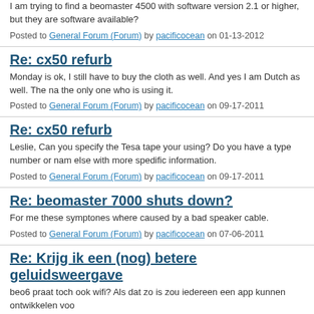I am trying to find a beomaster 4500 with software version 2.1 or higher, but they are software available?
Posted to General Forum (Forum) by pacificocean on 01-13-2012
Re: cx50 refurb
Monday is ok, I still have to buy the cloth as well. And yes I am Dutch as well. The na the only one who is using it.
Posted to General Forum (Forum) by pacificocean on 09-17-2011
Re: cx50 refurb
Leslie, Can you specify the Tesa tape your using? Do you have a type number or nam else with more spedific information.
Posted to General Forum (Forum) by pacificocean on 09-17-2011
Re: beomaster 7000 shuts down?
For me these symptones where caused by a bad speaker cable.
Posted to General Forum (Forum) by pacificocean on 07-06-2011
Re: Krijg ik een (nog) betere geluidsweergave
beo6 praat toch ook wifi? Als dat zo is zou iedereen een app kunnen ontwikkelen voo
Posted to BeoWorld Dutch (Forum) by pacificocean on 06-18-2011